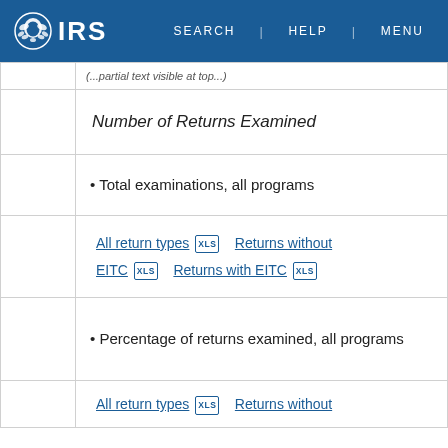IRS | SEARCH | HELP | MENU
|  | (partial row text) |
|  | Number of Returns Examined |
|  | • Total examinations, all programs |
|  | All return types [XLS]  Returns without EITC [XLS]  Returns with EITC [XLS] |
|  | • Percentage of returns examined, all programs |
|  | All return types [XLS]  Returns without |